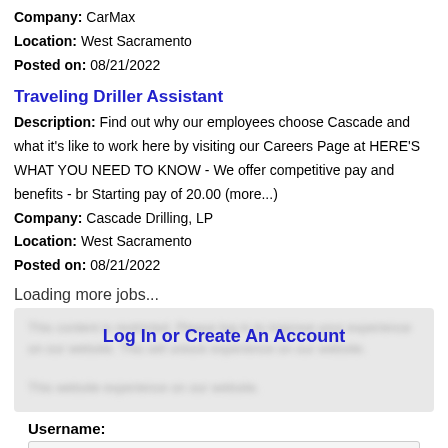Company: CarMax
Location: West Sacramento
Posted on: 08/21/2022
Traveling Driller Assistant
Description: Find out why our employees choose Cascade and what it's like to work here by visiting our Careers Page at HERE'S WHAT YOU NEED TO KNOW - We offer competitive pay and benefits - br Starting pay of 20.00 (more...)
Company: Cascade Drilling, LP
Location: West Sacramento
Posted on: 08/21/2022
Loading more jobs...
Log In or Create An Account
Username:
Password: